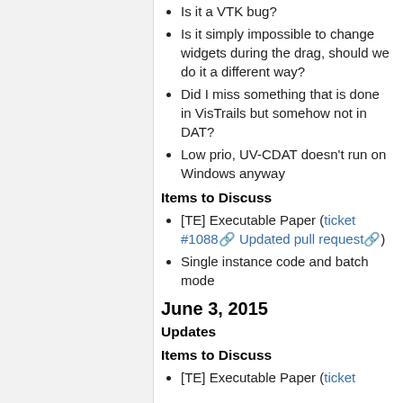Is it a VTK bug?
Is it simply impossible to change widgets during the drag, should we do it a different way?
Did I miss something that is done in VisTrails but somehow not in DAT?
Low prio, UV-CDAT doesn't run on Windows anyway
Items to Discuss
[TE] Executable Paper (ticket #1088 Updated pull request)
Single instance code and batch mode
June 3, 2015
Updates
Items to Discuss
[TE] Executable Paper (ticket